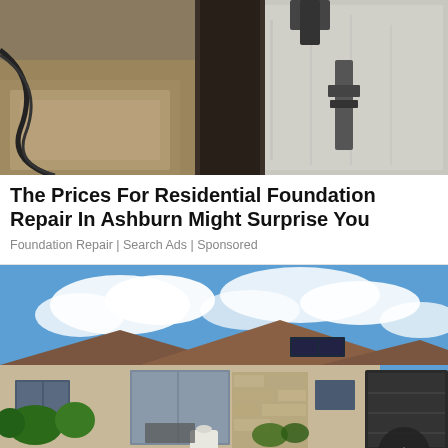[Figure (photo): Construction/foundation repair site showing excavated soil, concrete foundation wall, and reinforcement equipment]
The Prices For Residential Foundation Repair In Ashburn Might Surprise You
Foundation Repair | Search Ads | Sponsored
[Figure (photo): Large single-story residential home with tile roof, stone accents, manicured landscaping, solar panels, and paved driveway under blue sky with clouds]